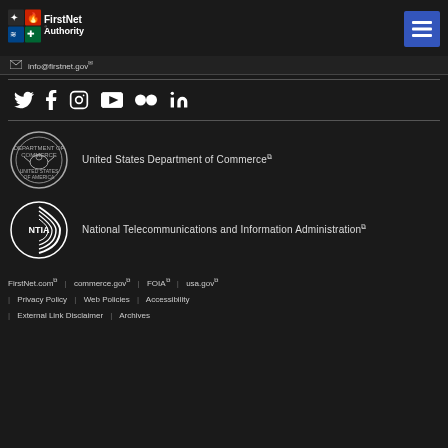FirstNet Authority
info@firstnet.gov
[Figure (other): Social media icons: Twitter, Facebook, Instagram, YouTube, Flickr, LinkedIn]
[Figure (logo): United States Department of Commerce seal]
United States Department of Commerce
[Figure (logo): NTIA logo]
National Telecommunications and Information Administration
FirstNet.com | commerce.gov | FOIA | usa.gov | Privacy Policy | Web Policies | Accessibility | External Link Disclaimer | Archives